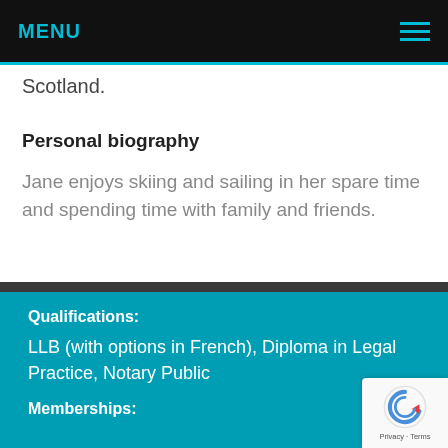MENU
Scotland.
Personal biography
Jane enjoys skiing and sailing in her spare time and spending time with family and friends.
Qualifications:
LLB (with options in French), Diploma in Legal Practice, Notary Public
Memberships: